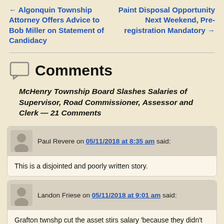← Algonquin Township Attorney Offers Advice to Bob Miller on Statement of Candidacy
Paint Disposal Opportunity Next Weekend, Pre-registration Mandatory →
Comments
McHenry Township Board Slashes Salaries of Supervisor, Road Commissioner, Assessor and Clerk — 21 Comments
Paul Revere on 05/11/2018 at 8:35 am said:
This is a disjointed and poorly written story.
Landon Friese on 05/11/2018 at 9:01 am said:
Grafton twnshp cut the asset stirs salary 'because they didn't like him?'